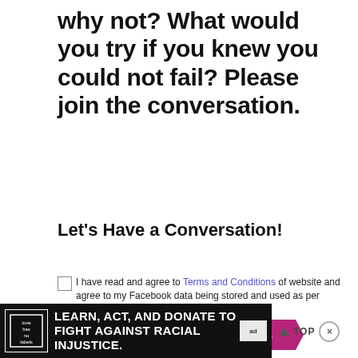why not? What would you try if you knew you could not fail? Please join the conversation.
Let's Have a Conversation!
I have read and agree to Terms and Conditions of website and agree to my Facebook data being stored and used as per Privacy Policy
TAGS  FINDING HAPPINESS  POSITIVITY
[Figure (infographic): Black advertisement banner: Love Has No Labels logo on left, text 'LEARN, ACT, AND DONATE TO FIGHT AGAINST RACIAL INJUSTICE.' in white bold uppercase, ad icon on right. TOP button with X close button to the right of the banner.]